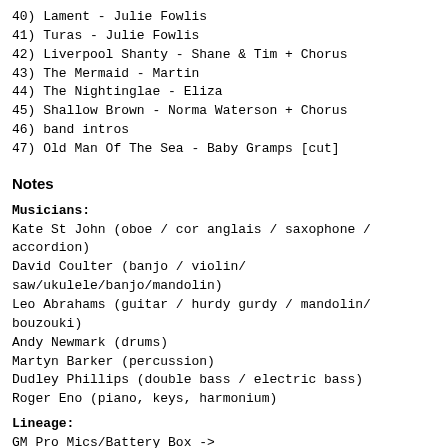40) Lament - Julie Fowlis
41) Turas - Julie Fowlis
42) Liverpool Shanty - Shane & Tim + Chorus
43) The Mermaid - Martin
44) The Nightinglae - Eliza
45) Shallow Brown - Norma Waterson + Chorus
46) band intros
47) Old Man Of The Sea - Baby Gramps [cut]
Notes
Musicians:
Kate St John (oboe / cor anglais / saxophone / accordion)
David Coulter (banjo / violin/ saw/ukulele/banjo/mandolin)
Leo Abrahams (guitar / hurdy gurdy / mandolin/ bouzouki)
Andy Newmark (drums)
Martyn Barker (percussion)
Dudley Phillips (double bass / electric bass)
Roger Eno (piano, keys, harmonium)
Lineage:
GM Pro Mics/Battery Box ->
Mic2496 -> spdif -> Microtrack (48khz, 24bit) ->
Adobe Audition (volume levelling, patches)
Audacity (track splits, faded in/out, resampling) ->
CD WAV